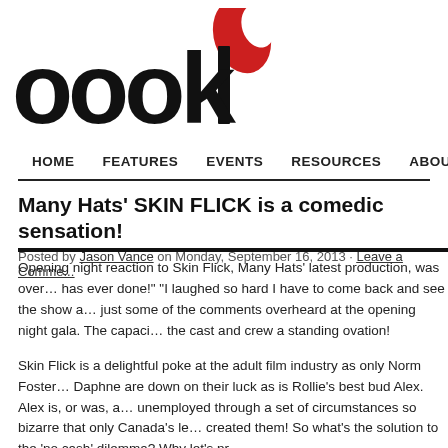[Figure (logo): oook logo with red teardrop/leaf shape above the letters, bold black text reading 'oook']
HOME   FEATURES   EVENTS   RESOURCES   ABOUT   CO...
Many Hats' SKIN FLICK is a comedic sensation!
Posted by Jason Vance on Monday, September 16, 2013 · Leave a Comme...
Opening night reaction to Skin Flick, Many Hats' latest production, was over... has ever done!" "I laughed so hard I have to come back and see the show a... just some of the comments overheard at the opening night gala. The capaci... the cast and crew a standing ovation!
Skin Flick is a delightful poke at the adult film industry as only Norm Foster... Daphne are down on their luck as is Rollie's best bud Alex. Alex is, or was, a... unemployed through a set of circumstances so bizarre that only Canada's le... created them! So what's the solution to the 'no cash' dilemma? Why let's pr...
Skin Flick is a great comedic film that...